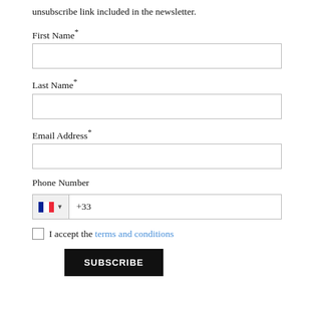unsubscribe link included in the newsletter.
First Name*
Last Name*
Email Address*
Phone Number
I accept the terms and conditions
SUBSCRIBE